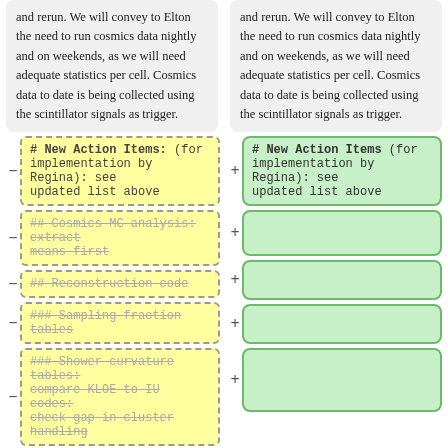and rerun. We will convey to Elton the need to run cosmics data nightly and on weekends, as we will need adequate statistics per cell. Cosmics data to date is being collected using the scintillator signals as trigger.
and rerun. We will convey to Elton the need to run cosmics data nightly and on weekends, as we will need adequate statistics per cell. Cosmics data to date is being collected using the scintillator signals as trigger.
# New Action Items: (for implementation by Regina): see updated list above
# New Action Items (for implementation by Regina): see updated list above
## Cosmics MC analysis: extract means first
## Reconstruction code
### Sampling fraction tables
### Shower curvature tables: compare KLOE to IU codes: check gap in cluster handling